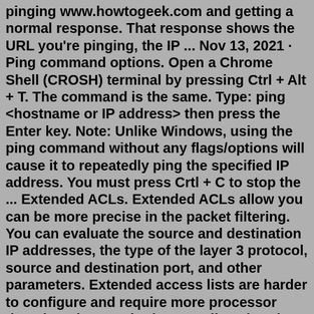pinging www.howtogeek.com and getting a normal response. That response shows the URL you're pinging, the IP ... Nov 13, 2021 · Ping command options. Open a Chrome Shell (CROSH) terminal by pressing Ctrl + Alt + T. The command is the same. Type: ping <hostname or IP address> then press the Enter key. Note: Unlike Windows, using the ping command without any flags/options will cause it to repeatedly ping the specified IP address. You must press Crtl + C to stop the ... Extended ACLs. Extended ACLs allow you can be more precise in the packet filtering. You can evaluate the source and destination IP addresses, the type of the layer 3 protocol, source and destination port, and other parameters. Extended access lists are harder to configure and require more processor time than the standard access lists, but they ... Ping works by sending an ICMP echo request message to the specified IP address. If the computer with the destination IP address is reachable, it responds with an ICMP echo reply message. A ping command